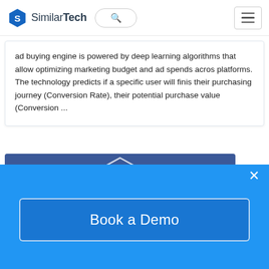SimilarTech
ad buying engine is powered by deep learning algorithms that allow optimizing marketing budget and ad spends across platforms. The technology predicts if a specific user will finish their purchasing journey (Conversion Rate), their potential purchase value (Conversion ...
[Figure (logo): Facebook logo on dark blue background with hexagonal border outline]
Facebook Custom Audi...
Book a Demo